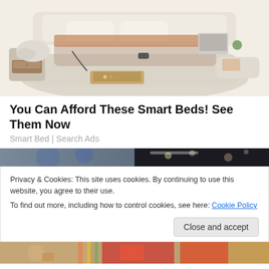[Figure (photo): Photo of a luxury smart bed with cream/beige upholstery, multiple storage compartments open, drawers pulled out showing contents, massage chair attachment, laptop, and various accessories arranged around it on a white background.]
You Can Afford These Smart Beds! See Them Now
Smart Bed | Search Ads
[Figure (photo): Two partial images side by side: left shows a blurred indoor scene with blue tones, right shows a dark background with bokeh lights.]
Privacy & Cookies: This site uses cookies. By continuing to use this website, you agree to their use.
To find out more, including how to control cookies, see here: Cookie Policy
[Figure (photo): Partial bottom strip showing a colorful scene with a person and colorful clothing/market.]